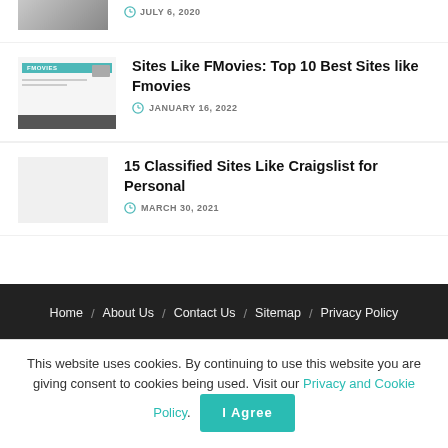[Figure (photo): Partially cropped thumbnail of a person, top of article list item]
JULY 6, 2020
[Figure (screenshot): Thumbnail showing FMovies website screenshot with teal FMOVIES logo label and gray bars]
Sites Like FMovies: Top 10 Best Sites like Fmovies
JANUARY 16, 2022
[Figure (photo): Blank light gray thumbnail placeholder]
15 Classified Sites Like Craigslist for Personal
MARCH 30, 2021
Home / About Us / Contact Us / Sitemap / Privacy Policy
This website uses cookies. By continuing to use this website you are giving consent to cookies being used. Visit our Privacy and Cookie Policy.